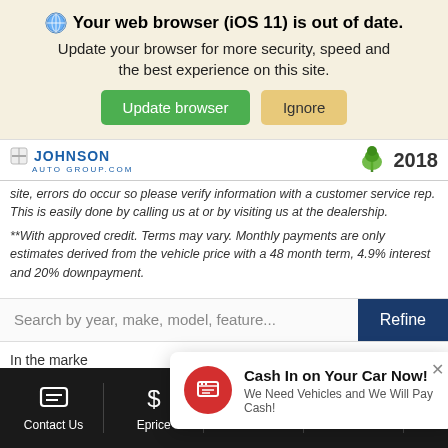Your web browser (iOS 11) is out of date. Update your browser for more security, speed and the best experience on this site.
[Figure (screenshot): Browser update notification banner with Update browser (green) and Ignore (tan) buttons]
[Figure (logo): Johnson Auto Group logo and 2018 year indicator]
site, errors do occur so please verify information with a customer service rep. This is easily done by calling us at or by visiting us at the dealership.
**With approved credit. Terms may vary. Monthly payments are only estimates derived from the vehicle price with a 48 month term, 4.9% interest and 20% downpayment.
Search by year, make, model, feature...
In the marke
Ford F-150,
[Figure (screenshot): Cash In on Your Car Now! popup notification - We Need Vehicles and We Will Pay Cash!]
Contact Us | Eprice | Chat | Call Us